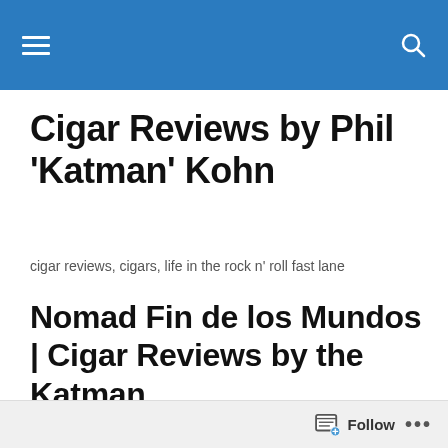[Navigation bar with hamburger menu and search icon]
Cigar Reviews by Phil 'Katman' Kohn
cigar reviews, cigars, life in the rock n' roll fast lane
Nomad Fin de los Mundos | Cigar Reviews by the Katman
Wrapper: Pennsylvania Broadleaf.
Binder: Nicaraguan Habano
Filler: Pennsylvania (U.S.), Dominican Republic, and Ni...
Follow ...